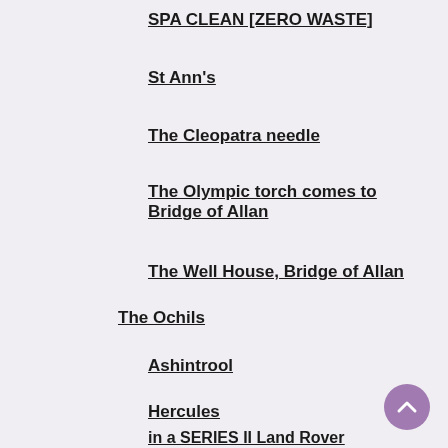SPA CLEAN [ZERO WASTE]
St Ann's
The Cleopatra needle
The Olympic torch comes to Bridge of Allan
The Well House, Bridge of Allan
The Ochils
Ashintrool
Hercules
in a SERIES II Land Rover